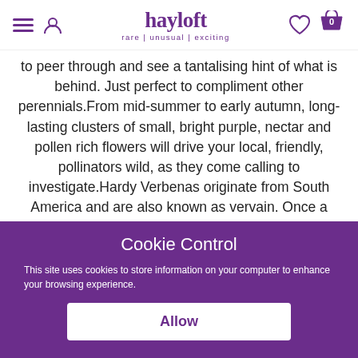[Figure (logo): Hayloft logo with hamburger menu, user icon, heart icon, and shopping cart with badge '0']
to peer through and see a tantalising hint of what is behind. Just perfect to compliment other perennials.From mid-summer to early autumn, long-lasting clusters of small, bright purple, nectar and pollen rich flowers will drive your local, friendly, pollinators wild, as they come calling to investigate.Hardy Verbenas originate from South America and are also known as vervain. Once a sacred plant to some ancient civilisations, it was said to be successful as a charm against witches and devils. It was even thought to
Cookie Control
This site uses cookies to store information on your computer to enhance your browsing experience.
Allow